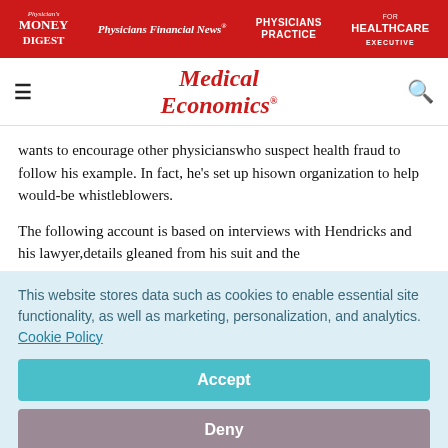Physician's Money Digest | Physicians Financial News | Physicians Practice | Healthcare Executive
[Figure (logo): Medical Economics logo in red italic serif font]
wants to encourage other physicianswho suspect health fraud to follow his example. In fact, he's set up hisown organization to help would-be whistleblowers.
The following account is based on interviews with Hendricks and his lawyer,details gleaned from his suit and the
This website stores data such as cookies to enable essential site functionality, as well as marketing, personalization, and analytics. Cookie Policy
Accept
Deny